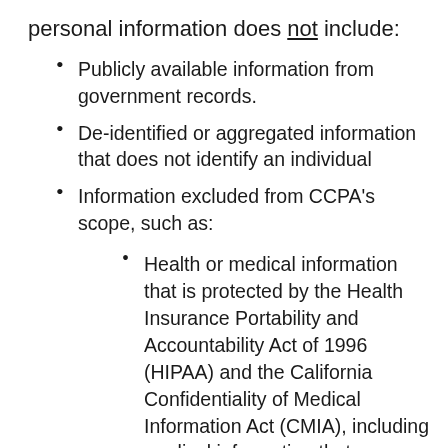personal information does not include:
Publicly available information from government records.
De-identified or aggregated information that does not identify an individual
Information excluded from CCPA's scope, such as:
Health or medical information that is protected by the Health Insurance Portability and Accountability Act of 1996 (HIPAA) and the California Confidentiality of Medical Information Act (CMIA), including medical information that we collect from you for treatment or clinical research purposes;
Personal information that is protected by certain sector-specific privacy laws, including the Fair Credit Reporting Act (FRCA), the Gramm-Leach-Bliley Act (GLBA) or California Financial